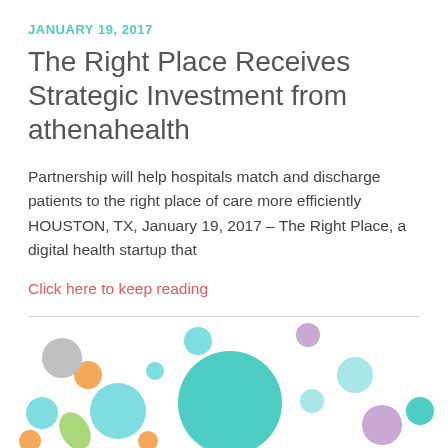JANUARY 19, 2017
The Right Place Receives Strategic Investment from athenahealth
Partnership will help hospitals match and discharge patients to the right place of care more efficiently HOUSTON, TX, January 19, 2017 – The Right Place, a digital health startup that
Click here to keep reading
[Figure (illustration): Colorful bubble/circle illustration with teal, orange, purple, grey, green, and light blue circles of various sizes arranged decoratively at the bottom of the page]